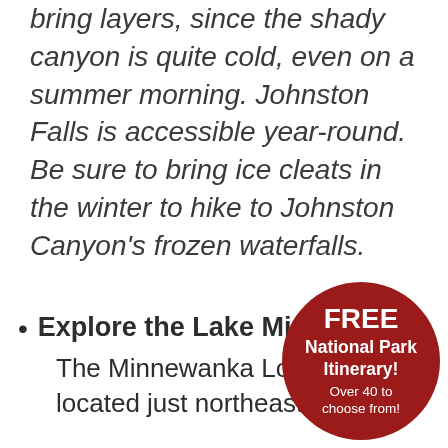bring layers, since the shady canyon is quite cold, even on a summer morning. Johnston Falls is accessible year-round. Be sure to bring ice cleats in the winter to hike to Johnston Canyon's frozen waterfalls.
Explore the Lake Minnewanka Loop. The Minnewanka Loop Road is located just northeast of Banff. Lake Minnewanka is the largest lake in Banff National Park and is a
[Figure (other): Red circular badge overlay with text: FREE National Park Itinerary! Over 40 to choose from!]